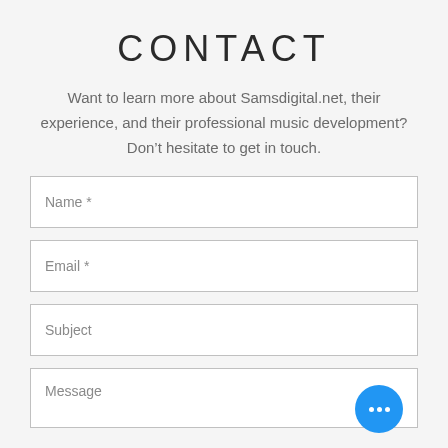CONTACT
Want to learn more about Samsdigital.net, their experience, and their professional music development? Don’t hesitate to get in touch.
Name *
Email *
Subject
Message